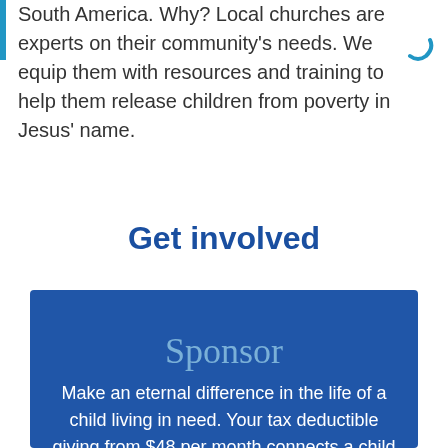South America. Why? Local churches are experts on their community's needs. We equip them with resources and training to help them release children from poverty in Jesus' name.
Get involved
Sponsor
Make an eternal difference in the life of a child living in need. Your tax deductible giving from $48 per month connects a child in need with